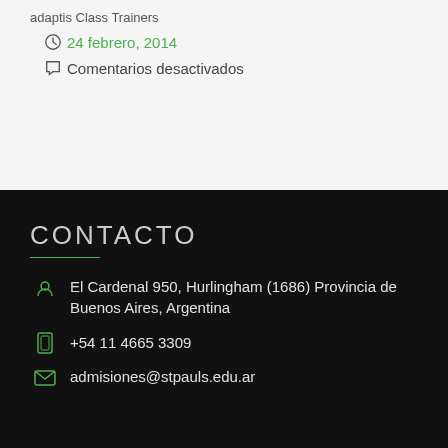adaptis Class Trainers
24 febrero, 2014
Comentarios desactivados
CONTACTO
El Cardenal 950, Hurlingham (1686) Provincia de Buenos Aires, Argentina
+54 11 4665 3309
admisiones@stpauls.edu.ar